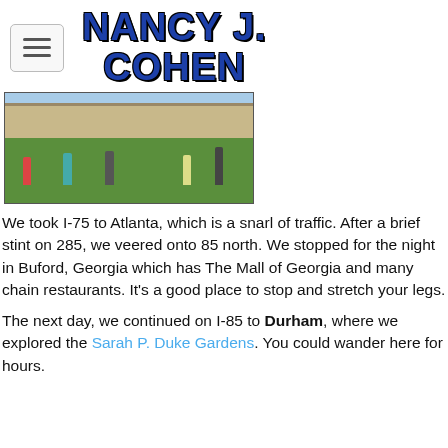Nancy J. Cohen
[Figure (photo): Outdoor photo showing people walking on a green lawn in front of a historic stone building or fort. Blue sky and green grass visible. Five figures in the scene.]
We took I-75 to Atlanta, which is a snarl of traffic. After a brief stint on 285, we veered onto 85 north. We stopped for the night in Buford, Georgia which has The Mall of Georgia and many chain restaurants. It’s a good place to stop and stretch your legs.
The next day, we continued on I-85 to Durham, where we explored the Sarah P. Duke Gardens. You could wander here for hours.